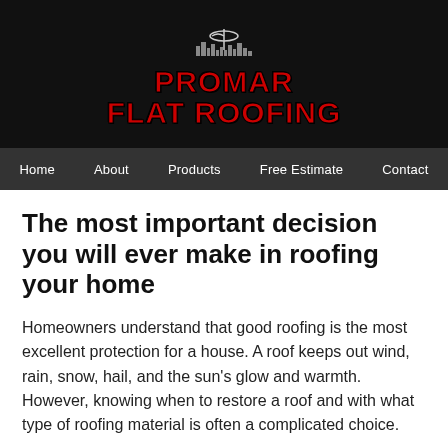[Figure (logo): Promar Flat Roofing logo with city skyline silhouette and umbrella icon on black background, red bold text reading PROMAR FLAT ROOFING]
Home   About   Products   Free Estimate   Contact
The most important decision you will ever make in roofing your home
Homeowners understand that good roofing is the most excellent protection for a house. A roof keeps out wind, rain, snow, hail, and the sun's glow and warmth. However, knowing when to restore a roof and with what type of roofing material is often a complicated choice.